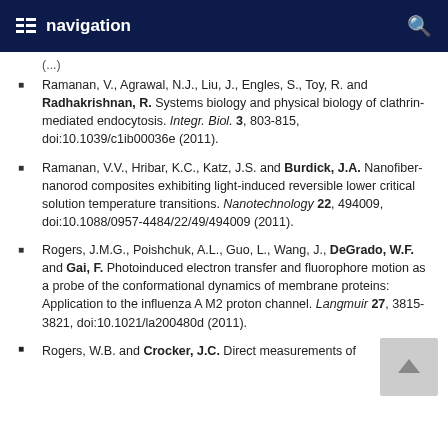navigation
Ramanan, V., Agrawal, N.J., Liu, J., Engles, S., Toy, R. and Radhakrishnan, R. Systems biology and physical biology of clathrin-mediated endocytosis. Integr. Biol. 3, 803-815, doi:10.1039/c1ib00036e (2011).
Ramanan, V.V., Hribar, K.C., Katz, J.S. and Burdick, J.A. Nanofiber-nanorod composites exhibiting light-induced reversible lower critical solution temperature transitions. Nanotechnology 22, 494009, doi:10.1088/0957-4484/22/49/494009 (2011).
Rogers, J.M.G., Poishchuk, A.L., Guo, L., Wang, J., DeGrado, W.F. and Gai, F. Photoinduced electron transfer and fluorophore motion as a probe of the conformational dynamics of membrane proteins: Application to the influenza A M2 proton channel. Langmuir 27, 3815-3821, doi:10.1021/la200480d (2011).
Rogers, W.B. and Crocker, J.C. Direct measurements of